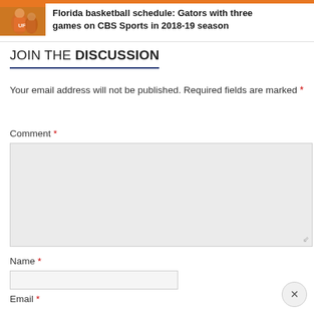[Figure (photo): Sports photo thumbnail showing basketball player in orange uniform, with orange banner bar at top]
Florida basketball schedule: Gators with three games on CBS Sports in 2018-19 season
JOIN THE DISCUSSION
Your email address will not be published. Required fields are marked *
Comment *
Name *
Email *